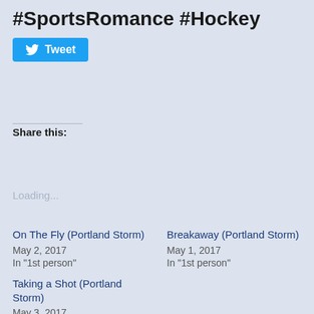#SportsRomance #Hockey
[Figure (screenshot): Twitter Tweet button in blue with bird icon]
Share this:
Loading...
On The Fly (Portland Storm)
May 2, 2017
In "1st person"
Breakaway (Portland Storm)
May 1, 2017
In "1st person"
Taking a Shot (Portland Storm)
May 3, 2017